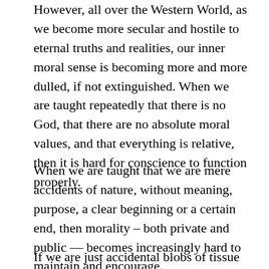However, all over the Western World, as we become more secular and hostile to eternal truths and realities, our inner moral sense is becoming more and more dulled, if not extinguished. When we are taught repeatedly that there is no God, that there are no absolute moral values, and that everything is relative, then it is hard for conscience to function properly.
When we are taught that we are mere accidents of nature, without meaning, purpose, a clear beginning or a certain end, then morality – both private and public — becomes increasingly hard to maintain and encourage.
If we are just accidental blobs of tissue living in a